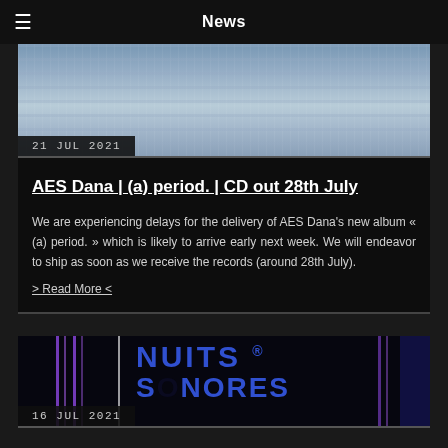News
[Figure (photo): Abstract blurry city building background image with muted blue-grey tones, vertical stripe texture]
21 JUL 2021
AES Dana | (a) period. | CD out 28th July
We are experiencing delays for the delivery of AES Dana's new album « (a) period. » which is likely to arrive early next week. We will endeavor to ship as soon as we receive the records (around 28th July).
> Read More <
[Figure (photo): Nuits Sonores event branding image with blue neon text and vertical purple/white neon light beams on dark background]
16 JUL 2021